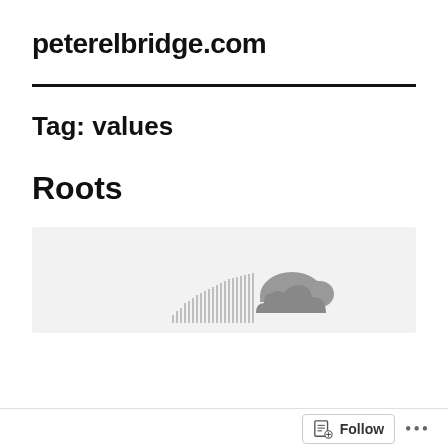peterelbridge.com
Tag: values
Roots
[Figure (screenshot): SoundCloud audio player embed with gray background showing SoundCloud waveform and logo icon]
Follow ...